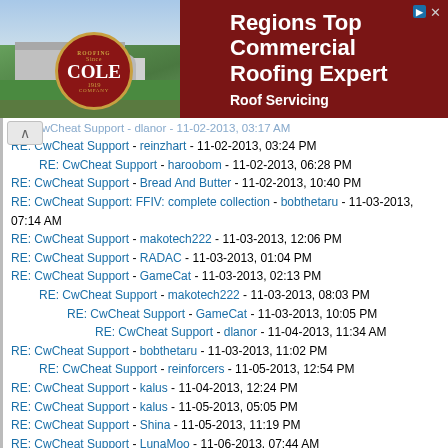[Figure (infographic): Advertisement banner for Cole Roofing Company showing aerial photo of building with silos on left, Cole logo (red circle with gold border), and text 'Regions Top Commercial Roofing Expert' with 'Roof Servicing' on dark red background on right.]
RE: CwCheat Support - dlanor - 11-02-2013, 03:17 AM (partially visible/faded)
RE: CwCheat Support - reinzhart - 11-02-2013, 03:24 PM
RE: CwCheat Support - haroobom - 11-02-2013, 06:28 PM
RE: CwCheat Support - Bread And Butter - 11-02-2013, 10:40 PM
RE: CwCheat Support: FFIV: complete collection - bobthetaru - 11-03-2013, 07:14 AM
RE: CwCheat Support - makotech222 - 11-03-2013, 12:06 PM
RE: CwCheat Support - RADAC - 11-03-2013, 01:04 PM
RE: CwCheat Support - GameCat - 11-03-2013, 02:13 PM
RE: CwCheat Support - makotech222 - 11-03-2013, 08:03 PM
RE: CwCheat Support - GameCat - 11-03-2013, 10:05 PM
RE: CwCheat Support - dlanor - 11-04-2013, 11:34 AM
RE: CwCheat Support - bobthetaru - 11-03-2013, 11:02 PM
RE: CwCheat Support - reinforcers - 11-05-2013, 12:54 PM
RE: CwCheat Support - kalus - 11-04-2013, 12:24 PM
RE: CwCheat Support - kalus - 11-05-2013, 05:05 PM
RE: CwCheat Support - Shina - 11-05-2013, 11:19 PM
RE: CwCheat Support - LunaMoo - 11-06-2013, 07:44 AM
RE: CwCheat Support - dlanor - 11-06-2013, 11:31 AM
RE: CwCheat Support - reinforcers - 11-06-2013, 02:33 PM